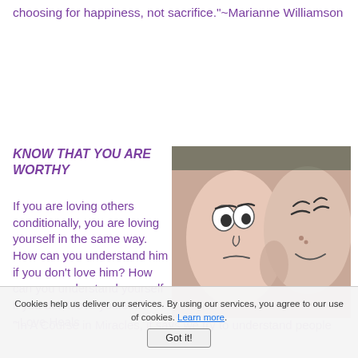choosing for happiness, not sacrifice."~Marianne Williamson
KNOW THAT YOU ARE WORTHY
If you are loving others conditionally, you are loving yourself in the same way. How can you understand him if you don't love him? How can you understand yourself if you don't love yourself?~Love Heals
[Figure (photo): Two fingers with drawn faces touching/kissing, one with a grumpy expression and one with a happy expression]
"In A Course in Miracles, it says we try to understand people
Cookies help us deliver our services. By using our services, you agree to our use of cookies. Learn more. Got it!